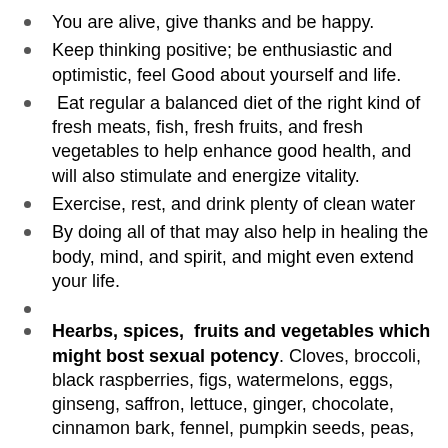You are alive, give thanks and be happy.
Keep thinking positive; be enthusiastic and optimistic, feel Good about yourself and life.
Eat regular a balanced diet of the right kind of fresh meats, fish, fresh fruits, and fresh vegetables to help enhance good health, and will also stimulate and energize vitality.
Exercise, rest, and drink plenty of clean water
By doing all of that may also help in healing the body, mind, and spirit, and might even extend your life.
Hearbs, spices, fruits and vegetables which might bost sexual potency. Cloves, broccoli, black raspberries, figs, watermelons, eggs, ginseng, saffron, lettuce, ginger, chocolate, cinnamon bark, fennel, pumpkin seeds, peas,